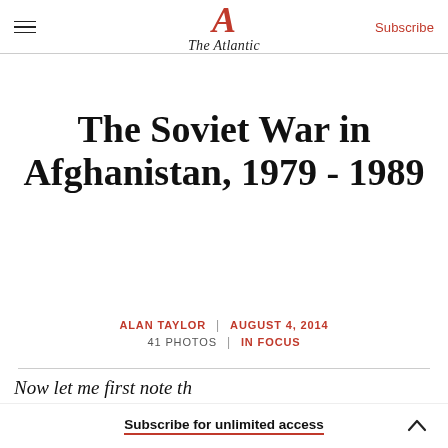The Atlantic — Subscribe
The Soviet War in Afghanistan, 1979 - 1989
ALAN TAYLOR | AUGUST 4, 2014
41 PHOTOS | IN FOCUS
Subscribe for unlimited access